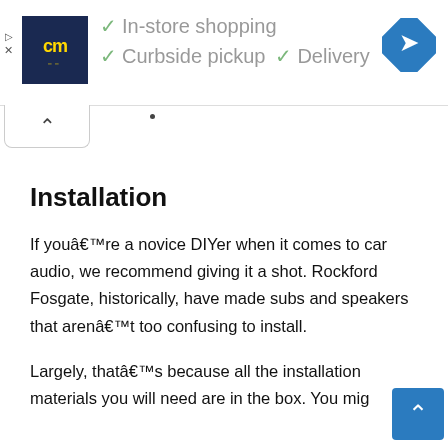[Figure (screenshot): Advertisement banner for a store showing logo 'cm', checkmarks for 'In-store shopping', 'Curbside pickup', 'Delivery', and a blue navigation icon on the right.]
Installation
If youâ€™re a novice DIYer when it comes to car audio, we recommend giving it a shot. Rockford Fosgate, historically, have made subs and speakers that arenâ€™t too confusing to install.
Largely, thatâ€™s because all the installation materials you will need are in the box. You mig